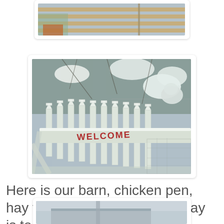[Figure (photo): Partial view of a snowy outdoor scene with wooden slat structure and potted plants, cropped at top of page]
[Figure (photo): Snow-covered white picket fence with 'WELCOME' written in red lettering on a horizontal rail, with snow-laden bare branches and garden ornament visible behind]
Here is our barn, chicken pen, hay for the sheep...our driveway is to the left...
[Figure (photo): Partial view of a snowy rural scene, bottom of page, appears to show a grey/white exterior building or barn structure]